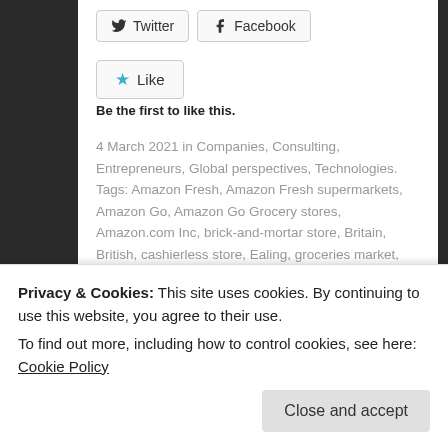Twitter | Facebook (social share buttons)
Like
Be the first to like this.
4 March 2021 in Companies, Consulting, Entrepreneurs, Global perspectives, Technologies. Tags: Amazon Fresh, Amazon Fresh supermarkets, Amazon Go, Amazon Go Grocery stores, Amazon.com Inc, brick-and-mortar store, Britain, British, cashierless store, Ealing, groceries market, London Borough, online orders, physical store, picking up, pickups, returning, sell food, Top
Related posts
Privacy & Cookies: This site uses cookies. By continuing to use this website, you agree to their use.
To find out more, including how to control cookies, see here: Cookie Policy
Close and accept